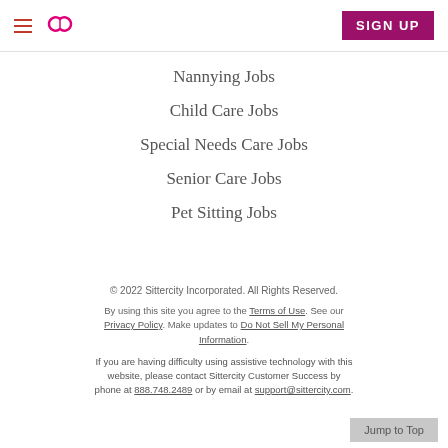Sittercity — hamburger menu, logo, SIGN UP
Nannying Jobs
Child Care Jobs
Special Needs Care Jobs
Senior Care Jobs
Pet Sitting Jobs
© 2022 Sittercity Incorporated. All Rights Reserved.
By using this site you agree to the Terms of Use. See our Privacy Policy. Make updates to Do Not Sell My Personal Information.
If you are having difficulty using assistive technology with this website, please contact Sittercity Customer Success by phone at 888.748.2489 or by email at support@sittercity.com.